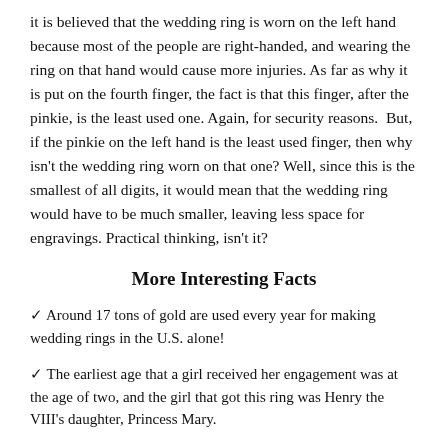it is believed that the wedding ring is worn on the left hand because most of the people are right-handed, and wearing the ring on that hand would cause more injuries. As far as why it is put on the fourth finger, the fact is that this finger, after the pinkie, is the least used one. Again, for security reasons.  But, if the pinkie on the left hand is the least used finger, then why isn't the wedding ring worn on that one? Well, since this is the smallest of all digits, it would mean that the wedding ring would have to be much smaller, leaving less space for engravings. Practical thinking, isn't it?
More Interesting Facts
✓ Around 17 tons of gold are used every year for making wedding rings in the U.S. alone!
✓ The earliest age that a girl received her engagement was at the age of two, and the girl that got this ring was Henry the VIII's daughter, Princess Mary.